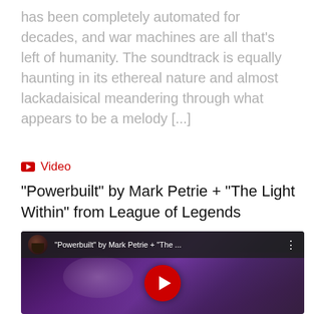has been completely automated for decades, and war machines are all that's left of humanity. The soundtrack is equally haunting in its ethereal nature and almost lackadaisical meandering through what appears to be a melody [...]
🎥 Video
"Powerbuilt" by Mark Petrie + "The Light Within" from League of Legends
[Figure (screenshot): YouTube video thumbnail showing a dark purple/violet background with hair, a top bar showing a circular avatar of a bearded man, video title '"Powerbuilt" by Mark Petrie + "The ...', three-dot menu, and a YouTube play button at the bottom center.]